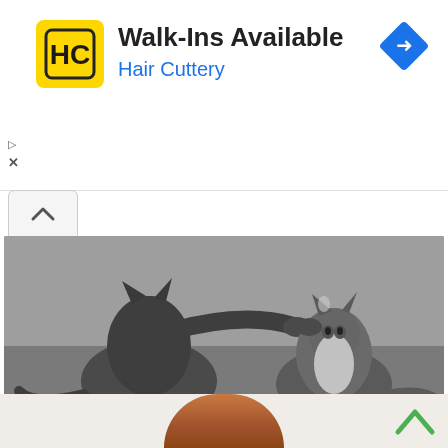[Figure (other): Advertisement banner for Hair Cuttery with yellow/black HC logo, text 'Walk-Ins Available' and 'Hair Cuttery' in blue, blue diamond navigation icon top right]
[Figure (photo): Two gray cats, one facing away slapping the other in the face, on a gray floor background]
4 Reasons for Cats Slap Each Other
ViralBezz | Sponsored
[Figure (photo): Bottom strip showing top of a person's head with brown hair, partially visible]